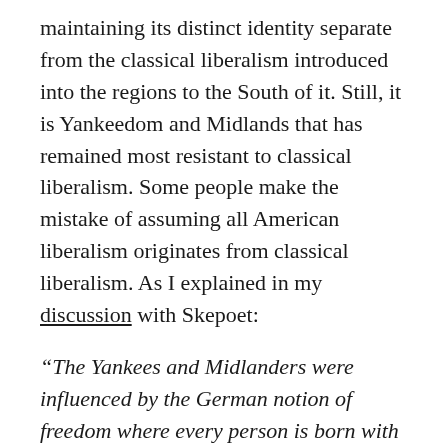maintaining its distinct identity separate from the classical liberalism introduced into the regions to the South of it. Still, it is Yankeedom and Midlands that has remained most resistant to classical liberalism. Some people make the mistake of assuming all American liberalism originates from classical liberalism. As I explained in my discussion with Skepoet:
“The Yankees and Midlanders were influenced by the German notion of freedom where every person is born with equal freedom, no matter their parentage,